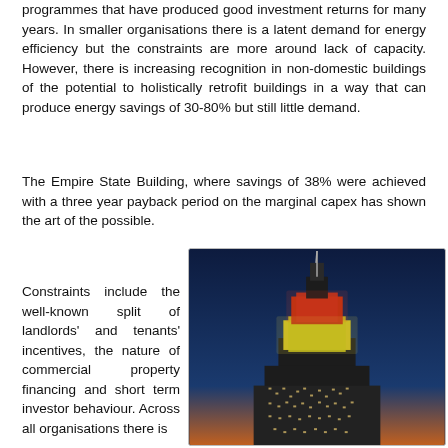programmes that have produced good investment returns for many years. In smaller organisations there is a latent demand for energy efficiency but the constraints are more around lack of capacity. However, there is increasing recognition in non-domestic buildings of the potential to holistically retrofit buildings in a way that can produce energy savings of 30-80% but still little demand.
The Empire State Building, where savings of 38% were achieved with a three year payback period on the marginal capex has shown the art of the possible.
Constraints include the well-known split of landlords' and tenants' incentives, the nature of commercial property financing and short term investor behaviour. Across all organisations there is
[Figure (photo): Photograph of the Empire State Building lit up at night with red and yellow/green lights against a dark blue sky]